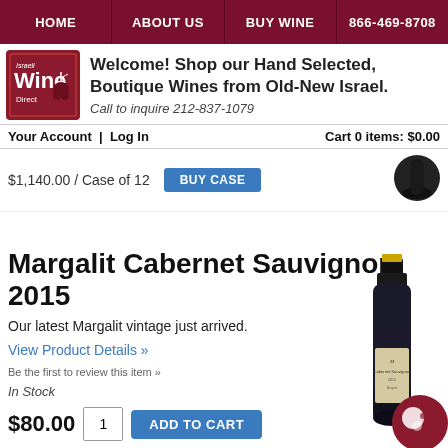HOME | ABOUT US | BUY WINE | 866-469-8708
[Figure (logo): Israeli Wine Direct logo — red square with stylized grape and text]
Welcome! Shop our Hand Selected, Boutique Wines from Old-New Israel.
Call to inquire 212-837-1079
Your Account  |  Log In
Cart 0 items: $0.00
$1,140.00 / Case of 12
BUY CASE
[Figure (photo): Bottom of dark wine bottle thumbnail]
Margalit Cabernet Sauvignon 2015
Our latest Margalit vintage just arrived.
View Product Details »
Be the first to review this item »
In Stock
$80.00
[Figure (photo): Margalit Cabernet Sauvignon 2015 wine bottle with label, with a red chat bubble overlay in bottom right]